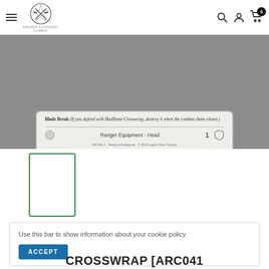Swords & Sorcery - navbar with hamburger menu, logo, search, account, and cart icons
[Figure (photo): Bottom portion of a Flesh and Blood TCG card: Skullbone Crosswrap. Shows Blade Break ability text, Ranger Equipment - Head type line, card number ARC041-L, artist Regina Krivokapova, copyright 2019 Legend Story Studios, defense value 1.]
[Figure (photo): Small thumbnail of the same Skullbone Crosswrap card with green border indicating selected state]
Use this bar to show information about your cookie policy.
CROSSWRAP [ARC041